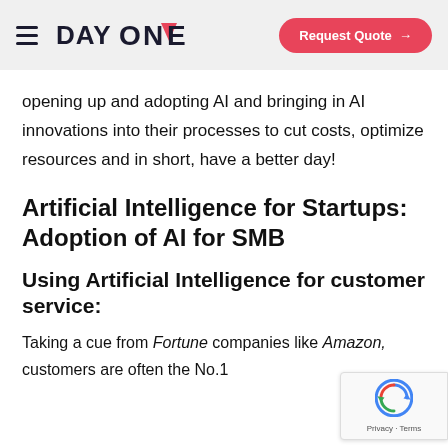DAY ONE — Request Quote
opening up and adopting AI and bringing in AI innovations into their processes to cut costs, optimize resources and in short, have a better day!
Artificial Intelligence for Startups: Adoption of AI for SMB
Using Artificial Intelligence for customer service:
Taking a cue from Fortune companies like Amazon, customers are often the No.1